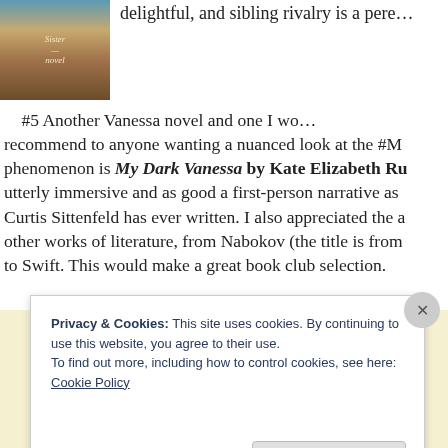[Figure (illustration): Book cover thumbnail for a novel, partially visible, showing layered landscape colors]
delightful, and sibling rivalry is a pere…
#5 Another Vanessa novel and one I would recommend to anyone wanting a nuanced look at the #M phenomenon is My Dark Vanessa by Kate Elizabeth Ru utterly immersive and as good a first-person narrative as Curtis Sittenfeld has ever written. I also appreciated the other works of literature, from Nabokov (the title is from to Swift. This would make a great book club selection.
Privacy & Cookies: This site uses cookies. By continuing to use this website, you agree to their use.
To find out more, including how to control cookies, see here: Cookie Policy